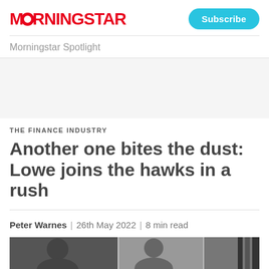MORNINGSTAR
Subscribe
Morningstar Spotlight
THE FINANCE INDUSTRY
Another one bites the dust: Lowe joins the hawks in a rush
Peter Warnes | 26th May 2022 | 8 min read
[Figure (photo): Partial photo of a person, black and white, cropped at bottom of page]